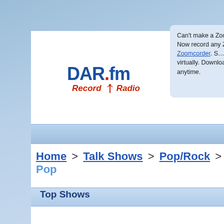[Figure (logo): DAR.fm Record Radio logo with red dot and antenna icon]
See how it works
Can't make a Zoom meeting? Now record any Zoom call with Zoomcorder. S... and attend virtually. Download and... anytime.
Home > Talk Shows > Pop/Rock > Pop
Top Shows
1. Frecuencia Radial
Donde quieras y como quieras ponte en f... nuestras instalaciones en Cuernavaca Mo... Frecuencia Radial, ponte en contacto Tel:...